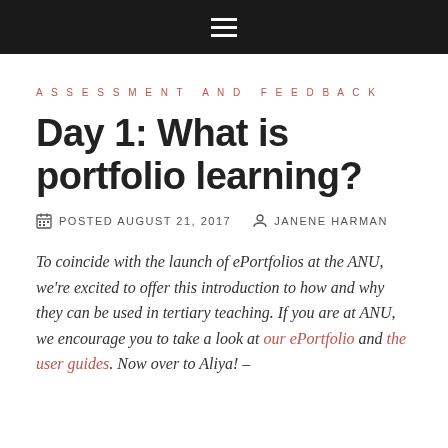≡
ASSESSMENT AND FEEDBACK
Day 1: What is portfolio learning?
POSTED AUGUST 21, 2017   JANENE HARMAN
To coincide with the launch of ePortfolios at the ANU, we're excited to offer this introduction to how and why they can be used in tertiary teaching. If you are at ANU, we encourage you to take a look at our ePortfolio and the user guides. Now over to Aliya! –